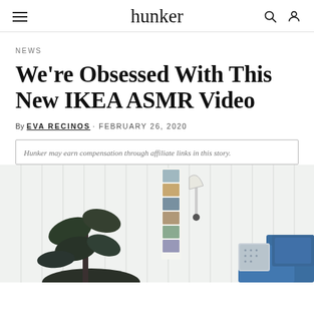hunker
NEWS
We're Obsessed With This New IKEA ASMR Video
By EVA RECINOS · FEBRUARY 26, 2020
Hunker may earn compensation through affiliate links in this story.
[Figure (photo): A cozy bedroom scene with a white shiplap wall, a potted dark-leafed plant, postcards hung on the wall, a white wall lamp, and a blue sofa/couch with blue and patterned pillows.]